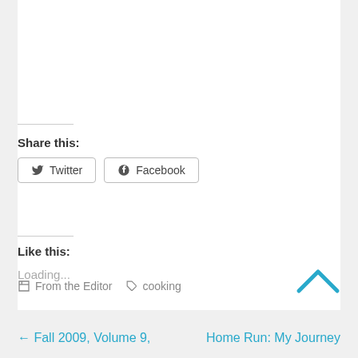Share this:
Twitter   Facebook
Like this:
Loading...
From the Editor   cooking
← Fall 2009, Volume 9,    Home Run: My Journey